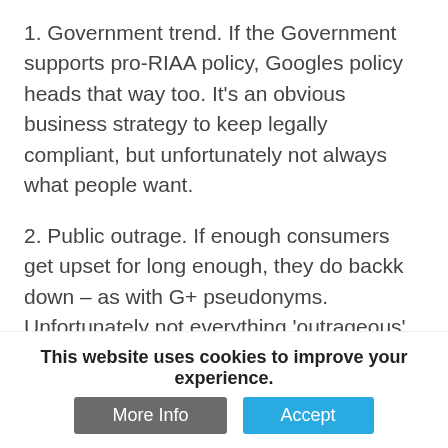1. Government trend. If the Government supports pro-RIAA policy, Googles policy heads that way too. It's an obvious business strategy to keep legally compliant, but unfortunately not always what people want.
2. Public outrage. If enough consumers get upset for long enough, they do backk down – as with G+ pseudonyms. Unfortunately not everything 'outrageous' gets enough outrage to challenge the Google reputation.
But given how paramount access to information is, shouldn't the direction be set by the judicial branch instead? That justice has so little influence is a problem in mitigation strategy: it's like telling people to go sort things out without court. Often, it works, but sometimes it doesn't. We need a mechanism for correctional, neutral
This website uses cookies to improve your experience.